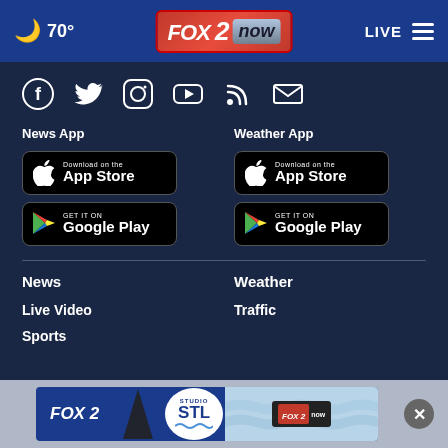70° FOX 2 now LIVE
[Figure (screenshot): Social media icons: Facebook, Twitter, Instagram, YouTube, RSS, Email]
News App
Weather App
[Figure (other): Download on the App Store button (News App)]
[Figure (other): GET IT ON Google Play button (News App)]
[Figure (other): Download on the App Store button (Weather App)]
[Figure (other): GET IT ON Google Play button (Weather App)]
News
Weather
Live Video
Traffic
Sports
[Figure (screenshot): FOX 2 / Studio STL / FOX2now advertisement banner at the bottom]